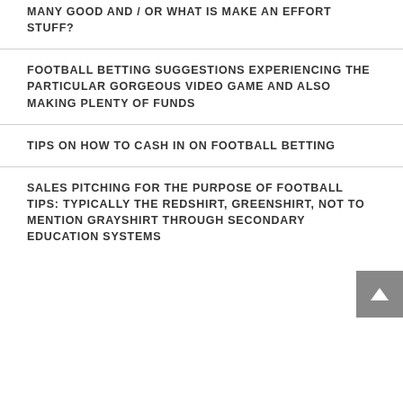MANY GOOD AND / OR WHAT IS MAKE AN EFFORT STUFF?
FOOTBALL BETTING SUGGESTIONS EXPERIENCING THE PARTICULAR GORGEOUS VIDEO GAME AND ALSO MAKING PLENTY OF FUNDS
TIPS ON HOW TO CASH IN ON FOOTBALL BETTING
SALES PITCHING FOR THE PURPOSE OF FOOTBALL TIPS: TYPICALLY THE REDSHIRT, GREENSHIRT, NOT TO MENTION GRAYSHIRT THROUGH SECONDARY EDUCATION SYSTEMS